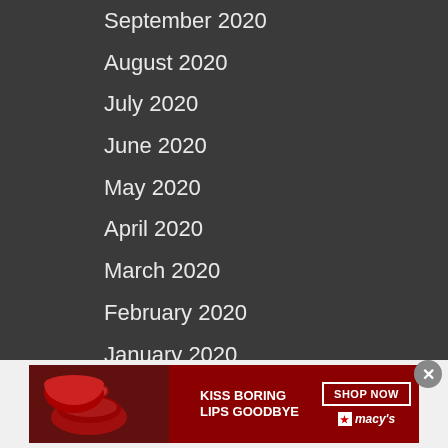September 2020
August 2020
July 2020
June 2020
May 2020
April 2020
March 2020
February 2020
January 2020
October 2019
September 2019
[Figure (screenshot): Advertisement banner for Macy's cosmetics: dark red background with woman's lips, text 'KISS BORING LIPS GOODBYE', SHOP NOW button, and Macy's star logo]